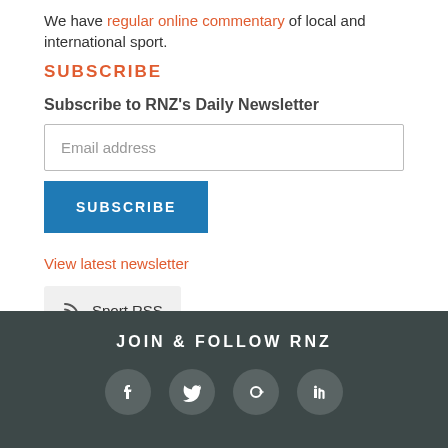We have regular online commentary of local and international sport.
SUBSCRIBE
Subscribe to RNZ's Daily Newsletter
Email address
SUBSCRIBE
View latest newsletter
Sport RSS
Follow RNZ News
JOIN & FOLLOW RNZ